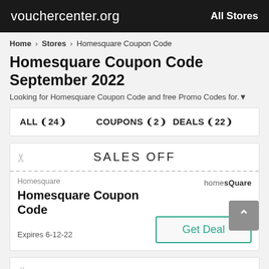vouchercenter.org   All Stores
Home > Stores > Homesquare Coupon Code
Homesquare Coupon Code September 2022
Looking for Homesquare Coupon Code and free Promo Codes for.▼
ALL (24)   COUPONS (2)   DEALS (22)
[Figure (other): Coupon card with scissors icon and SALES OFF label, dashed border top section]
Homesquare
Homesquare Coupon Code
homesQuare (brand logo)
Expires 6-12-22
Get Deal